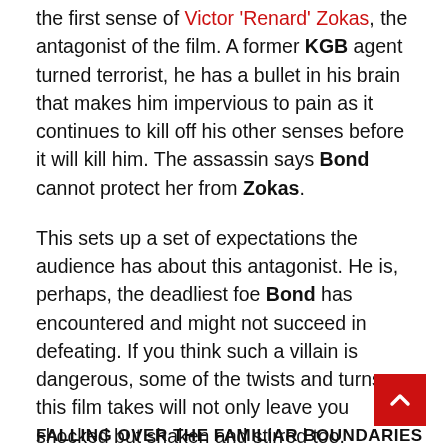the first sense of Victor 'Renard' Zokas, the antagonist of the film. A former KGB agent turned terrorist, he has a bullet in his brain that makes him impervious to pain as it continues to kill off his other senses before it will kill him. The assassin says Bond cannot protect her from Zokas.
This sets up a set of expectations the audience has about this antagonist. He is, perhaps, the deadliest foe Bond has encountered and might not succeed in defeating. If you think such a villain is dangerous, some of the twists and turns this film takes will not only leave you shocked but shaken and stirred too.
THE SMART AND POIGNANT ACTION OF JAMES BOND AND 'TOMORROW NEVER DIES'
FALLING OVER THE FAMILIAR BOUNDARIES